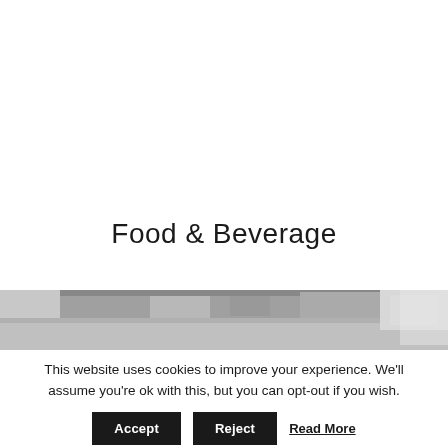Food & Beverage
[Figure (photo): Black and white photo of what appears to be a commercial kitchen or food preparation area, showing overhead equipment and surfaces.]
This website uses cookies to improve your experience. We'll assume you're ok with this, but you can opt-out if you wish.
Accept
Reject
Read More